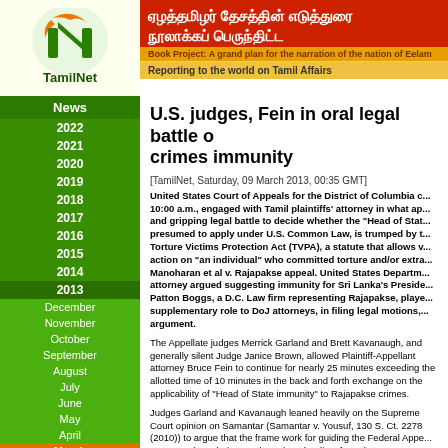[Figure (logo): TamilNet logo with orange and green 'TN' monogram and 'TamilNet' text below]
ஏழத்தமிழர் தேசத்தின் எடுத்துரை நூலாக்கப் பெருந்திட்ட
Book Project: A grand plan for the narration of the nation of Eelam
Reporting to the world on Tamil Affairs
U.S. judges, Fein in oral legal battle on crimes immunity
[TamilNet, Saturday, 09 March 2013, 00:35 GMT]
United States Court of Appeals for the District of Columbia c... 10:00 a.m., engaged with Tamil plaintiffs' attorney in what ap... and gripping legal battle to decide whether the "Head of Stat... presumed to apply under U.S. Common Law, is trumped by t... Torture Victims Protection Act (TVPA), a statute that allows v... action on "an individual" who committed torture and/or extra... Manoharan et al v. Rajapakse appeal. United States Departm... attorney argued suggesting immunity for Sri Lanka's Preside... Patton Boggs, a D.C. Law firm representing Rajapakse, playe... supplementary role to DoJ attorneys, in filing legal motions,... argument.
The Appellate judges Merrick Garland and Brett Kavanaugh, and generally silent Judge Janice Brown, allowed Plaintiff-Appellant attorney Bruce Fein to continue for nearly 25 minutes exceeding the allotted time of 10 minutes in the back and forth exchange on the applicability of "Head of State immunity" to Rajapakse crimes.
Judges Garland and Kavanaugh leaned heavily on the Supreme Court opinion on Samantar (Samantar v. Yousuf, 130 S. Ct. 2278 (2010)) to argue that the frame work for guiding the Federal Appellate courts such as theirs was based on the dicta from the Supreme Court on the Samantar case.